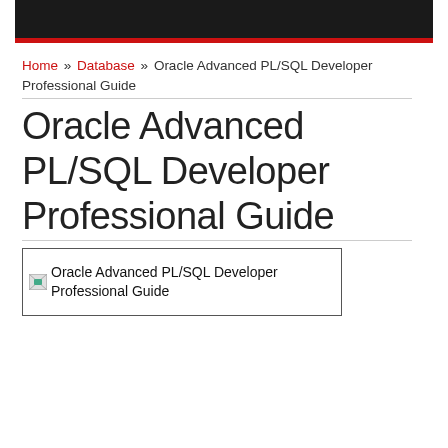Home » Database » Oracle Advanced PL/SQL Developer Professional Guide
Oracle Advanced PL/SQL Developer Professional Guide
[Figure (illustration): Broken image placeholder for Oracle Advanced PL/SQL Developer Professional Guide book cover]